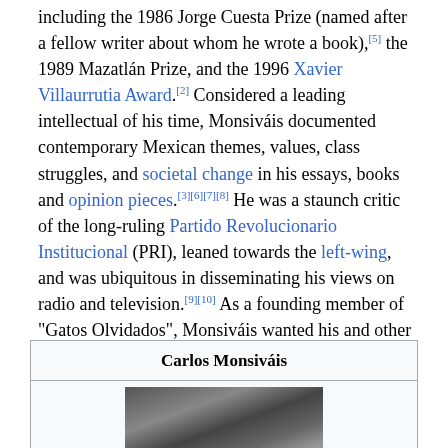including the 1986 Jorge Cuesta Prize (named after a fellow writer about whom he wrote a book),[5] the 1989 Mazatlán Prize, and the 1996 Xavier Villaurrutia Award.[2] Considered a leading intellectual of his time, Monsiváis documented contemporary Mexican themes, values, class struggles, and societal change in his essays, books and opinion pieces.[3][6][7][8] He was a staunch critic of the long-ruling Partido Revolucionario Institucional (PRI), leaned towards the left-wing, and was ubiquitous in disseminating his views on radio and television.[9][10] As a founding member of "Gatos Olvidados", Monsiváis wanted his and other "forgotten cats" to be provided for beyond his lifetime.[11][12]
| Carlos Monsiváis |
| --- |
| [photo] |